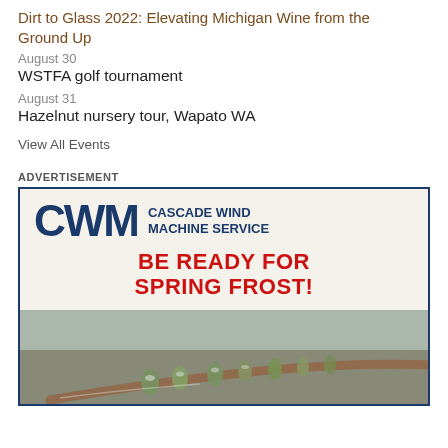Dirt to Glass 2022: Elevating Michigan Wine from the Ground Up
August 30
WSTFA golf tournament
August 31
Hazelnut nursery tour, Wapato WA
View All Events
ADVERTISEMENT
[Figure (illustration): Cascade Wind Machine Service advertisement with logo, text 'BE READY FOR SPRING FROST!' and a photo of frost-covered plant buds on a branch]